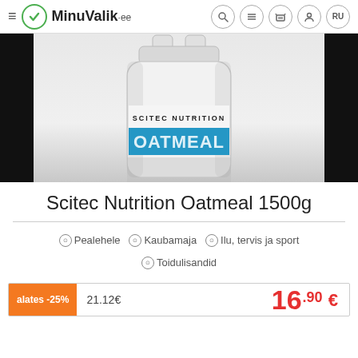≡ MinuValik.ee
[Figure (photo): Scitec Nutrition Oatmeal 1500g product jar — white plastic container with blue label showing SCITEC NUTRITION and OATMEAL branding]
Scitec Nutrition Oatmeal 1500g
⊙ Pealehele ⊙ Kaubamaja ⊙ Ilu, tervis ja sport ⊙ Toidulisandid
alates -25%  21.12€  16.90 €